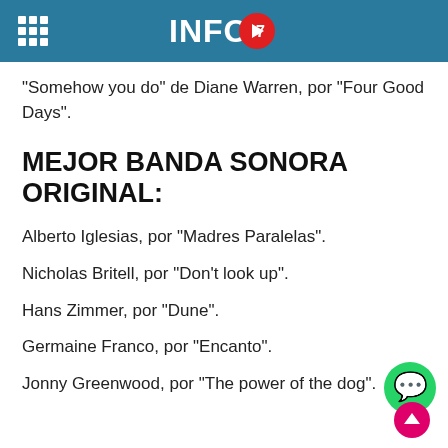INFO7
"Somehow you do" de Diane Warren, por "Four Good Days".
MEJOR BANDA SONORA ORIGINAL:
Alberto Iglesias, por "Madres Paralelas".
Nicholas Britell, por "Don't look up".
Hans Zimmer, por "Dune".
Germaine Franco, por "Encanto".
Jonny Greenwood, por "The power of the dog".